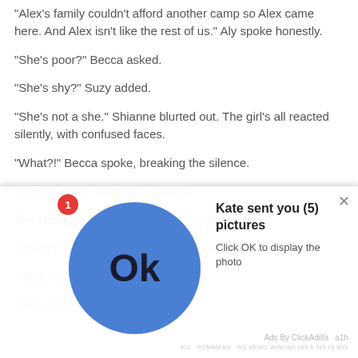“Alex’s family couldn’t afford another camp so Alex came here. And Alex isn’t like the rest of us.” Aly spoke honestly.
“She’s poor?” Becca asked.
“She’s shy?” Suzy added.
“She’s not a she.” Shianne blurted out. The girl’s all reacted silently, with confused faces.
“What?!” Becca spoke, breaking the silence.
“Alex is a boy, not a girl.” Aly said.
The kids registered the new information.
“Really?!” Erin asked, sounding almost excited.
“Yeah. [partially obscured] out and [partially obscured]
“He’s se[partially obscured]
[Figure (screenshot): Advertising overlay popup: blue circle with 'Ok' text, notification badge with '1', ad text reading 'Kate sent you (5) pictures - Click OK to display the photo', close button X, 'Ads By ClickAdilla a1h' footer]